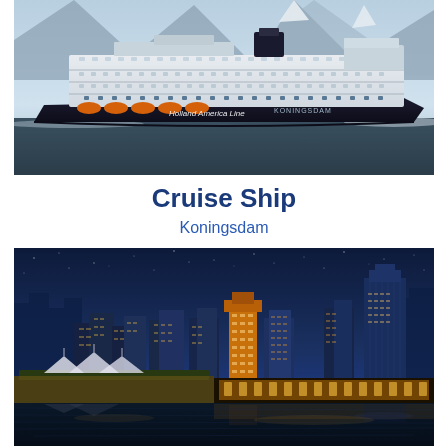[Figure (photo): Holland America Line cruise ship Koningsdam sailing on calm water with mountains in the background. The ship is dark navy/black hull with white upper decks and orange lifeboats visible.]
Cruise Ship
Koningsdam
[Figure (photo): Night skyline of a city (Vancouver) with illuminated skyscrapers reflected in the water. Blue twilight sky, Canada Place sails visible in the foreground.]